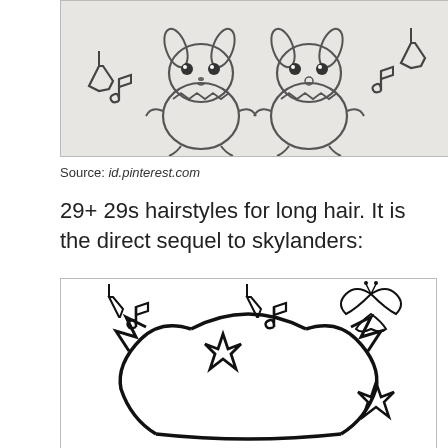[Figure (illustration): Coloring page illustration of two cute cartoon Pichu Pokemon characters with music notes around them, on a light gray background]
Source: id.pinterest.com
29+ 29s hairstyles for long hair. It is the direct sequel to skylanders:
[Figure (illustration): Coloring page outline illustration of Pikachu face/head from above with music notes, stars, and a butterfly scattered around, on white background]